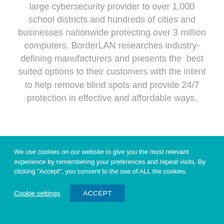large cybersecurity provider to over 1,000 school districts and hundreds of cities and businesses nationwide protecting over 3 million computers. BorderLAN researches industry-defining manufacturers and presents the best suited options to their customers with the intent to help remove blind spots and provide 24/7 protection in effective and affordable ways.
We use cookies on our website to give you the most relevant experience by remembering your preferences and repeat visits. By clicking "Accept", you consent to the use of ALL the cookies.
Cookie settings
ACCEPT